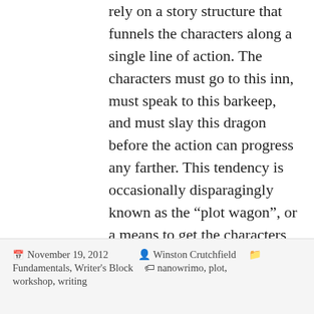rely on a story structure that funnels the characters along a single line of action. The characters must go to this inn, must speak to this barkeep, and must slay this dragon before the action can progress any farther. This tendency is occasionally disparagingly known as the “plot wagon”, or a means to get the characters from one plot point to another without diverging or chasing rabbit trails along the way. It makes for streamlined storytelling, but can seem very contrived if not handled correctly.
read more
November 19, 2012  Winston Crutchfield  Fundamentals, Writer's Block  nanowrimo, plot, workshop, writing